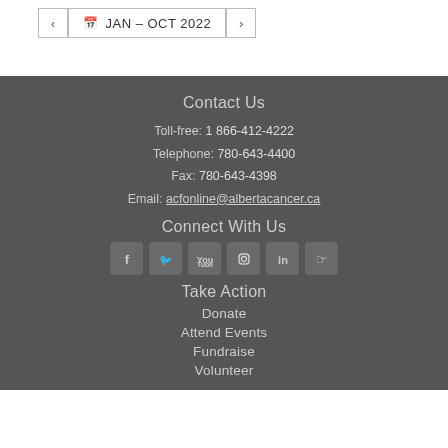< JAN – OCT 2022 >
Contact Us
Toll-free: 1 866-412-4222
Telephone: 780-643-4400
Fax: 780-643-4398
Email: acfonline@albertacancer.ca
Connect With Us
[Figure (infographic): Social media icons: Facebook, Twitter, YouTube, Instagram, LinkedIn, and a hand/action icon]
Take Action
Donate
Attend Events
Fundraise
Volunteer